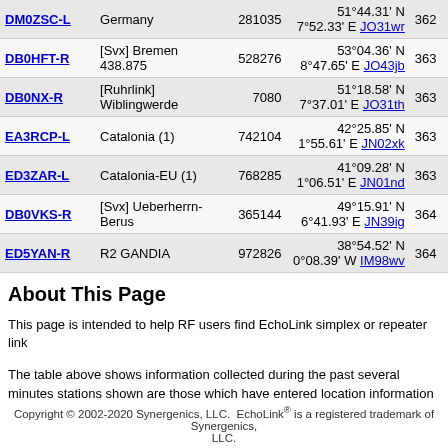| Callsign | Location | Node ID | Coordinates | Grid | Num |
| --- | --- | --- | --- | --- | --- |
| DM0ZSC-L | Germany | 281035 | 51°44.31' N 7°52.33' E | JO31wr | 362 |
| DB0HFT-R | [Svx] Bremen 438.875 | 528276 | 53°04.36' N 8°47.65' E | JO43jb | 363 |
| DB0NX-R | [Ruhrlink] Wiblingwerde | 7080 | 51°18.58' N 7°37.01' E | JO31th | 363 |
| EA3RCP-L | Catalonia (1) | 742104 | 42°25.85' N 1°55.61' E | JN02xk | 363 |
| ED3ZAR-L | Catalonia-EU (1) | 768285 | 41°09.28' N 1°06.51' E | JN01nd | 363 |
| DB0VKS-R | [Svx] Ueberherrn-Berus | 365144 | 49°15.91' N 6°41.93' E | JN39ig | 364 |
| ED5YAN-R | R2 GANDIA | 972826 | 38°54.52' N 0°08.39' W | IM98wv | 364 |
About This Page
This page is intended to help RF users find EchoLink simplex or repeater link
The table above shows information collected during the past several minutes stations shown are those which have entered location information on the RF here.
Simplex links (-L) show the location, frequency, and antenna information of th and antenna information of the repeater it serves. The values in the Power, H
Copyright © 2002-2020 Synergenics, LLC.  EchoLink® is a registered trademark of Synergenics, LLC.